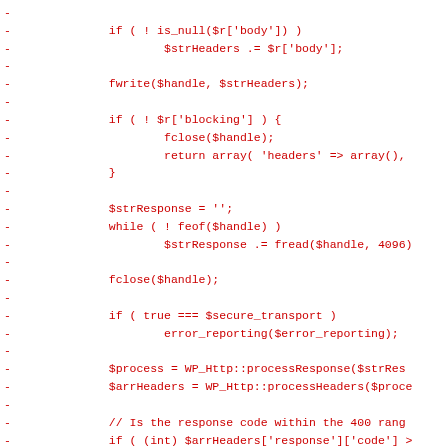Code diff showing PHP HTTP request handling logic with removed lines (marked with -), including: null check on $r['body'], fwrite call, blocking check with fclose/return, response reading loop with fread, fclose, secure transport check, processResponse/processHeaders calls, response code range check, and location/redirect handling.